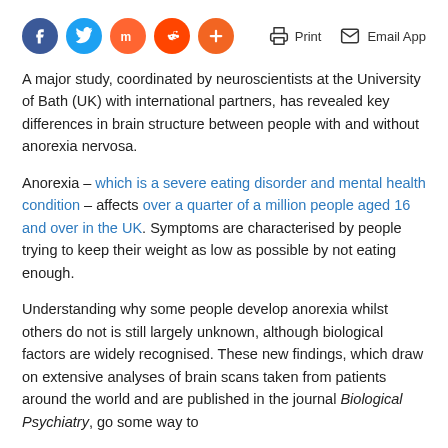[Figure (other): Social media share buttons (Facebook, Twitter, Mix, Reddit, Plus) and Print / Email App action icons in the top navigation bar]
A major study, coordinated by neuroscientists at the University of Bath (UK) with international partners, has revealed key differences in brain structure between people with and without anorexia nervosa.
Anorexia – which is a severe eating disorder and mental health condition – affects over a quarter of a million people aged 16 and over in the UK. Symptoms are characterised by people trying to keep their weight as low as possible by not eating enough.
Understanding why some people develop anorexia whilst others do not is still largely unknown, although biological factors are widely recognised. These new findings, which draw on extensive analyses of brain scans taken from patients around the world and are published in the journal Biological Psychiatry, go some way to